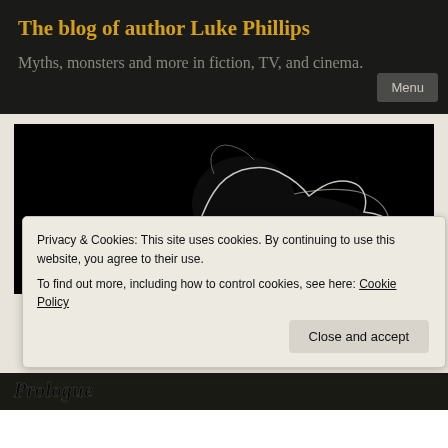The blog of author Luke Phillips
Myths, monsters and more in fiction, TV, and cinema.
Menu
[Figure (photo): Dark silhouette of a large cat (lion or similar) outlined in white light against a black background, viewed from the side]
Privacy & Cookies: This site uses cookies. By continuing to use this website, you agree to their use.
To find out more, including how to control cookies, see here: Cookie Policy
Close and accept
Prologue